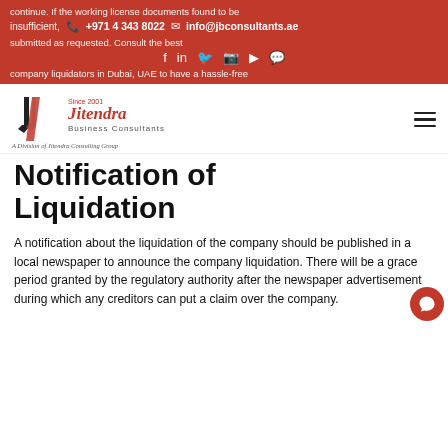continue. If the working license documents found to be insufficient, +971 4 343 8022 info@jbconsultants.ae submitted as requested. Consult the best company liquidators in Dubai, UAE to have a hassle-free
[Figure (logo): Jitendra Business Consultants logo with J monogram in black and red, text 'Jitendra Business Consultants' and 'Since 2001' tagline, 'A Division of Jitendra Consulting Group' below]
Notification of Liquidation
A notification about the liquidation of the company should be published in a local newspaper to announce the company liquidation. There will be a grace period granted by the regulatory authority after the newspaper advertisement during which any creditors can put a claim over the company.